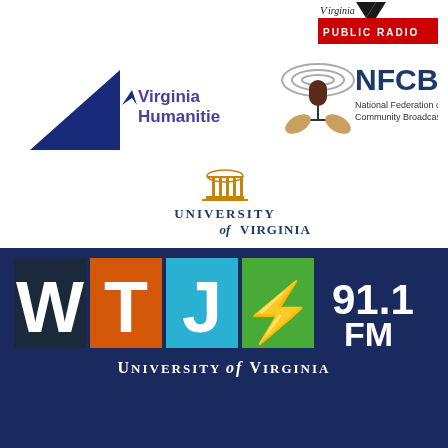[Figure (logo): Virginia Public Radio logo - red/black banner with microphone graphic]
[Figure (logo): Virginia Humanities logo - blue triangle with V mark and text 'Virginia Humanities']
[Figure (logo): NFCB - National Federation of Community Broadcasters logo with microphone and hands graphic]
[Figure (logo): University of Virginia logo with rotunda building icon and text]
[Figure (logo): WTJU 91.1 FM University of Virginia radio station logo with colored letter blocks]
Air Studio: (434) 924-3959
Front Desk: (434) 924-0885